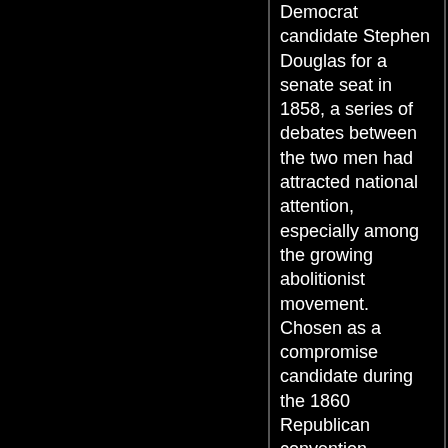Democrat candidate Stephen Douglas for a senate seat in 1858, a series of debates between the two men had attracted national attention, especially among the growing abolitionist movement. Chosen as a compromise candidate during the 1860 Republican convention, Lincoln won election as president, aided by the breakup of the Democrat party over slavery. Convinced that he intended to